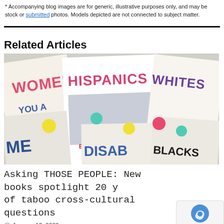* Accompanying blog images are for generic, illustrative purposes only, and may be stock or submitted photos. Models depicted are not connected to subject matter.
[Figure (photo): Photo of multiple book covers fanned out, showing titles including WOMEN, HISPANICS, WHITES, BLACKS, DISAB[ILITIES], MEN, with people holding signs in front of their faces]
Related Articles
Asking THOSE PEOPLE: New books spotlight 20 years of taboo cross-cultural questions
January 13, 2020